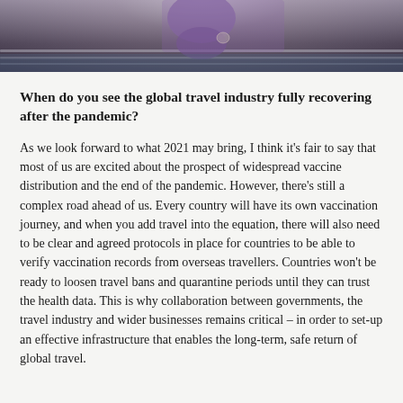[Figure (photo): Partial photo of a person wearing a purple shirt and a watch, standing near a railing with water in the background. Only the torso/hands are visible in a cropped strip at the top of the page.]
When do you see the global travel industry fully recovering after the pandemic?
As we look forward to what 2021 may bring, I think it's fair to say that most of us are excited about the prospect of widespread vaccine distribution and the end of the pandemic. However, there's still a complex road ahead of us. Every country will have its own vaccination journey, and when you add travel into the equation, there will also need to be clear and agreed protocols in place for countries to be able to verify vaccination records from overseas travellers. Countries won't be ready to loosen travel bans and quarantine periods until they can trust the health data. This is why collaboration between governments, the travel industry and wider businesses remains critical – in order to set-up an effective infrastructure that enables the long-term, safe return of global travel.